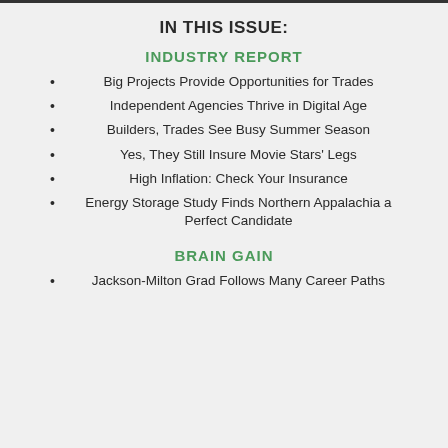IN THIS ISSUE:
INDUSTRY REPORT
Big Projects Provide Opportunities for Trades
Independent Agencies Thrive in Digital Age
Builders, Trades See Busy Summer Season
Yes, They Still Insure Movie Stars' Legs
High Inflation: Check Your Insurance
Energy Storage Study Finds Northern Appalachia a Perfect Candidate
BRAIN GAIN
Jackson-Milton Grad Follows Many Career Paths